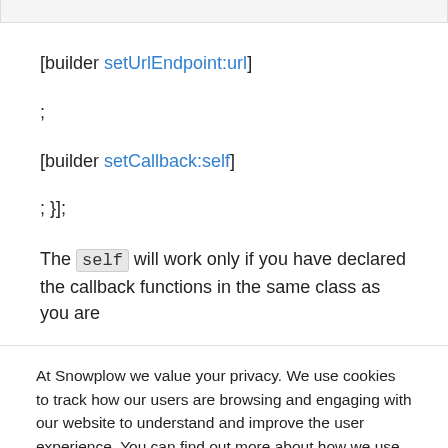[builder setUrlEndpoint:url]
;
[builder setCallback:self]
; }];
The self will work only if you have declared the callback functions in the same class as you are
At Snowplow we value your privacy. We use cookies to track how our users are browsing and engaging with our website to understand and improve the user experience. You can find out more about how we use first- and third-party cookies and update your preferences by clicking cookie settings. Click accept to continue.